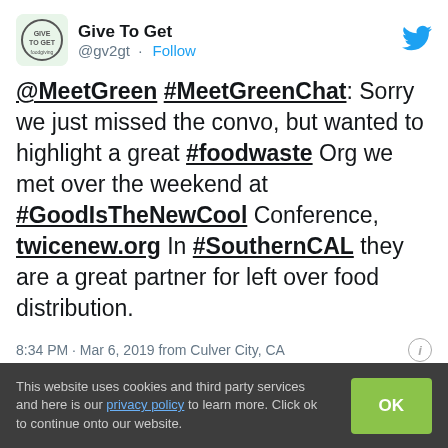[Figure (screenshot): Tweet from @gv2gt (Give To Get) with Twitter bird icon and avatar logo]
@MeetGreen #MeetGreenChat: Sorry we just missed the convo, but wanted to highlight a great #foodwaste Org we met over the weekend at #GoodIsTheNewCool Conference, twicenew.org In #SouthernCAL they are a great partner for left over food distribution.
8:34 PM · Mar 6, 2019 from Culver City, CA
2  Reply  Copy link to Tweet
Explore what's happening on Twitter
This website uses cookies and third party services and here is our privacy policy to learn more. Click ok to continue onto our website.